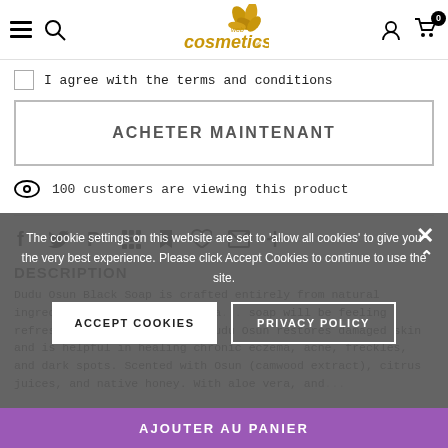cosmetics web — navigation header with hamburger, search, logo, user icon, cart (0)
I agree with the terms and conditions
ACHETER MAINTENANT
100 customers are viewing this product
[Figure (infographic): Social sharing icons row: Facebook, Twitter, Pinterest, Grid/apps, Bookmark, Heart/Fancy, Email, Plus]
DESCRIPTION
Dudu Osun Black Soap is crafted entirely from natural ingredients and herbs, many ha... soap will be feeling refreshed and silky smooth. Dudu Osun restores damaged skin and is helpful in healing chronic eczema, acne, freckles, and dark spots. Scented with Osun (camwood extract), citrus juices, and native honey. With aloe vera, and...
The cookie settings on this website are set to 'allow all cookies' to give you the very best experience. Please click Accept Cookies to continue to use the site.
ACCEPT COOKIES
PRIVACY POLICY
AJOUTER AU PANIER